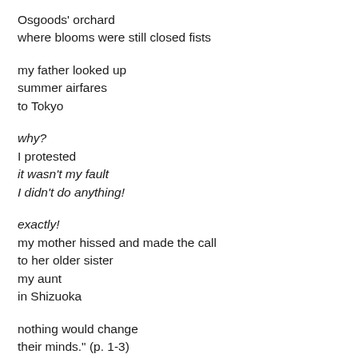Osgoods' orchard
where blooms were still closed fists
my father looked up
summer airfares
to Tokyo
why?
I protested
it wasn't my fault
I didn't do anything!
exactly!
my mother hissed and made the call
to her older sister
my aunt
in Shizuoka
nothing would change
their minds." (p. 1-3)
"when you started talking